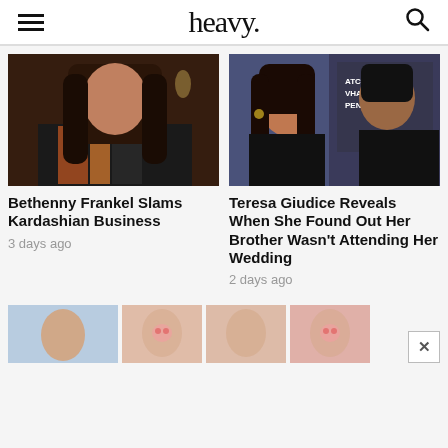heavy.
[Figure (photo): Woman with long dark hair sitting in a colorful setting]
Bethenny Frankel Slams Kardashian Business
3 days ago
[Figure (photo): Teresa Giudice and her brother at Watch What Happens Live event]
Teresa Giudice Reveals When She Found Out Her Brother Wasn't Attending Her Wedding
2 days ago
[Figure (photo): Partially visible images at bottom of page including person and pig icons]